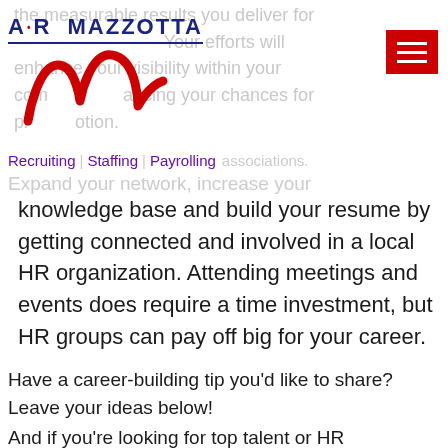[Figure (logo): A.R. Mazzotta logo with red cursive M and dark blue text, with tagline 'Recruiting | Staffing | Payrolling']
[Figure (other): Red hamburger menu button with three white horizontal lines]
the measurable results you deliver for Your efforts will enhance your visibility within your company, advancing your chances for promotion.
associations. Expand your network, increase your
knowledge base and build your resume by getting connected and involved in a local HR organization. Attending meetings and events does require a time investment, but HR groups can pay off big for your career.
Have a career-building tip you'd like to share? Leave your ideas below!
And if you're looking for top talent or HR